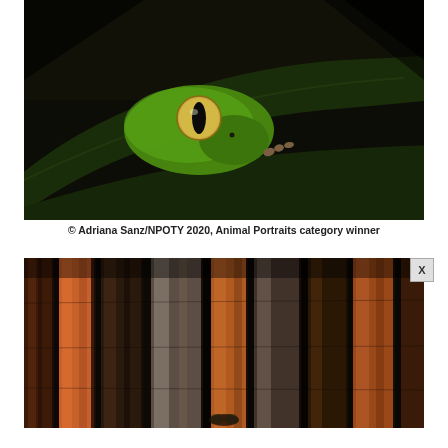[Figure (photo): Close-up photo of a green tree frog peeking over a dark green leaf against a very dark/black background. The frog's large golden eye with a vertical slit pupil is prominently visible. NPOTY 2020 Animal Portraits category winner photograph by Adriana Sanz.]
© Adriana Sanz/NPOTY 2020, Animal Portraits category winner
[Figure (photo): Partial photo showing vertical wooden planks or tree trunks with dark burned/charred appearance and reddish-brown tones, with a hint of a small animal at the bottom center. Bottom portion of the page is cropped/cut off.]